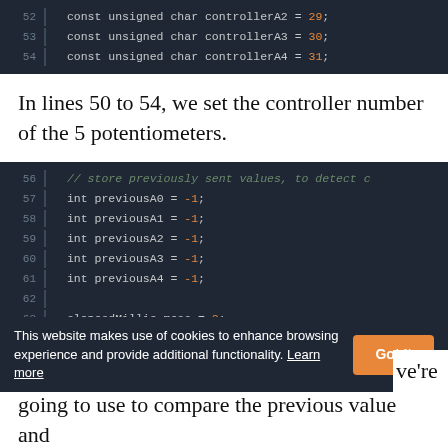[Figure (screenshot): Code editor screenshot showing lines 52-54: const unsigned char controllerA2 = 29; const unsigned char controllerA3 = 30; const unsigned char controllerA4 = 31;]
In lines 50 to 54, we set the controller number of the 5 potentiometers.
[Figure (screenshot): Code editor screenshot showing lines 56-63: comment about storing previously sent values, int previousA0 = -1; int previousA1 = -1; int previousA2 = -1; int previousA3 = -1; int previousA4 = -1; blank line 62; elapsedMillis msec = 0;]
This website makes use of cookies to enhance browsing experience and provide additional functionality. Learn more
going to use to compare the previous value and